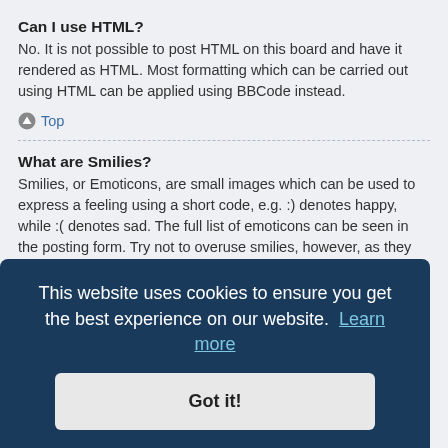Can I use HTML?
No. It is not possible to post HTML on this board and have it rendered as HTML. Most formatting which can be carried out using HTML can be applied using BBCode instead.
Top
What are Smilies?
Smilies, or Emoticons, are small images which can be used to express a feeling using a short code, e.g. :) denotes happy, while :( denotes sad. The full list of emoticons can be seen in the posting form. Try not to overuse smilies, however, as they can quickly render a post unreadable and a moderator may edit them out or remove the post altogether. The board administrator may also have set a limit to the number of smilies you may use within a post.
Top
This website uses cookies to ensure you get the best experience on our website. Learn more
Got it!
protected sites, etc. To display the image use the BBCode [img] tag.